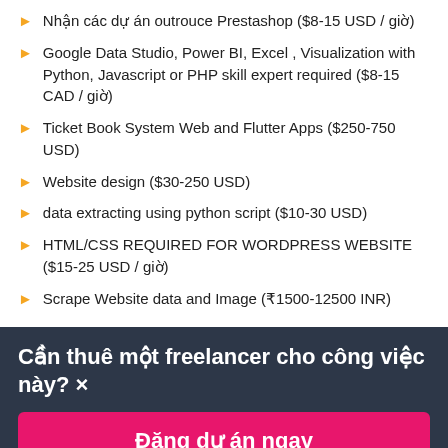Nhận các dự án outrouce Prestashop ($8-15 USD / giờ)
Google Data Studio, Power BI, Excel , Visualization with Python, Javascript or PHP skill expert required ($8-15 CAD / giờ)
Ticket Book System Web and Flutter Apps ($250-750 USD)
Website design ($30-250 USD)
data extracting using python script ($10-30 USD)
HTML/CSS REQUIRED FOR WORDPRESS WEBSITE ($15-25 USD / giờ)
Scrape Website data and Image (₹1500-12500 INR)
Cần thuê một freelancer cho công việc này? ×
Đăng dự án ngay